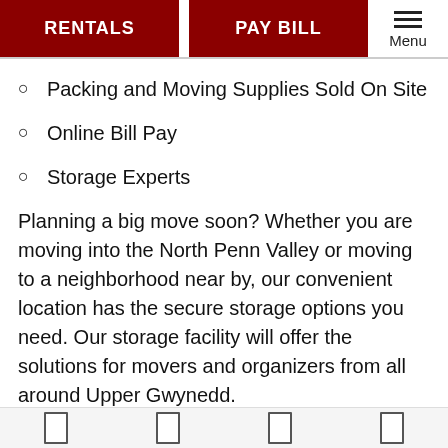RENTALS | PAY BILL | Menu
Packing and Moving Supplies Sold On Site
Online Bill Pay
Storage Experts
Planning a big move soon? Whether you are moving into the North Penn Valley or moving to a neighborhood near by, our convenient location has the secure storage options you need. Our storage facility will offer the solutions for movers and organizers from all around Upper Gwynedd.
What do you do with your car for the winter? Storage with